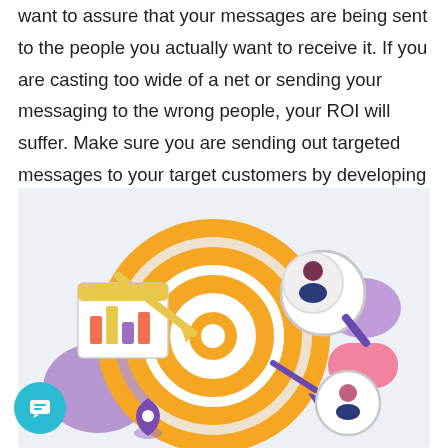want to assure that your messages are being sent to the people you actually want to receive it. If you are casting too wide of a net or sending your messaging to the wrong people, your ROI will suffer. Make sure you are sending out targeted messages to your target customers by developing your target customer persona.
[Figure (illustration): Marketing target customer persona illustration showing a bullseye target with orange/gold rings, a magnifying glass with a person icon, arrows, charts, and decorative purple/pink shapes representing targeted marketing and customer personas.]